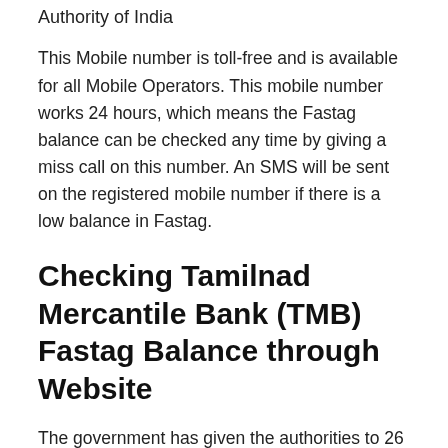Authority of India
This Mobile number is toll-free and is available for all Mobile Operators. This mobile number works 24 hours, which means the Fastag balance can be checked any time by giving a miss call on this number. An SMS will be sent on the registered mobile number if there is a low balance in Fastag.
Checking Tamilnad Mercantile Bank (TMB) Fastag Balance through Website
The government has given the authorities to 26 banks in India through which you can get Fastag. Users can check the balance of their Fastag and recharge it through the website